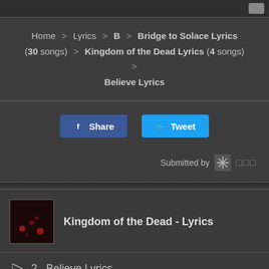Home > Lyrics > B > Bridge to Solace Lyrics (30 songs) > Kingdom of the Dead Lyrics (4 songs) > Believe Lyrics
Share  Tweet
Submitted by
Kingdom of the Dead - Lyrics
2.  Believe Lyrics
3.  Kingdom Of The Dead Lyrics